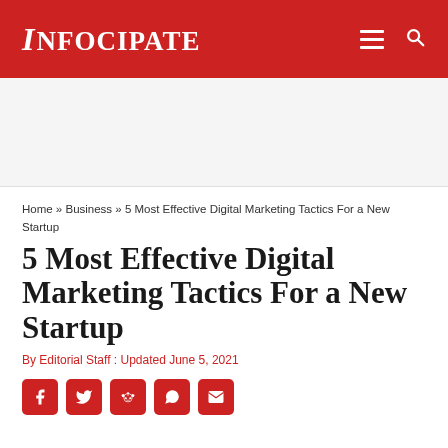INFOCIPATE
Home » Business » 5 Most Effective Digital Marketing Tactics For a New Startup
5 Most Effective Digital Marketing Tactics For a New Startup
By Editorial Staff : Updated June 5, 2021
[Figure (infographic): Social sharing icons row: Facebook, Twitter, Reddit, WhatsApp, Email — each in a red rounded square]